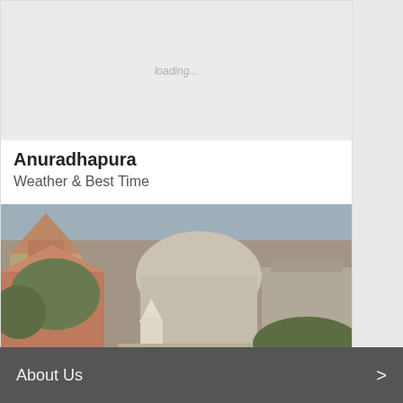[Figure (photo): Loading placeholder image for Anuradhapura with light grey background and 'loading...' text]
Anuradhapura
Weather & Best Time
[Figure (photo): Photograph of Galle showing historic buildings including a church with red roof and a white stupa/monument in the foreground]
Galle
Weather & Best Time
About Us   >